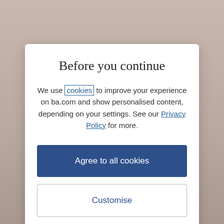Before you continue
We use cookies to improve your experience on ba.com and show personalised content, depending on your settings. See our Privacy Policy for more.
Agree to all cookies
Customise